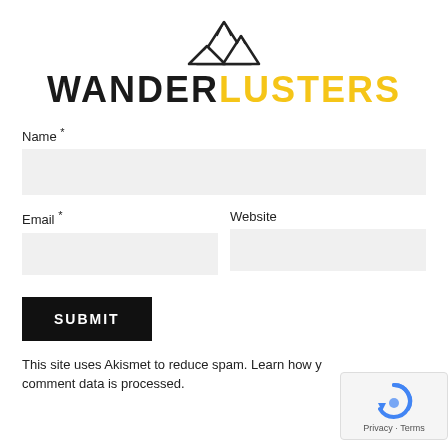[Figure (logo): WanderLusters logo with mountain peaks SVG above text. WANDER in black, LUSTERS in yellow/gold.]
Name *
Email *
Website
SUBMIT
This site uses Akismet to reduce spam. Learn how your comment data is processed.